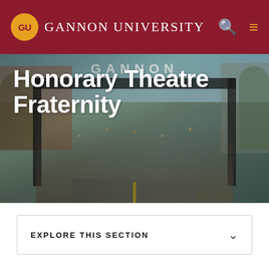GU Gannon University
[Figure (photo): Aerial/elevated photo of a large crowd of students gathered under a Gannon gate arch with brick buildings and trees in the background]
Honorary Theatre Fraternity
EXPLORE THIS SECTION